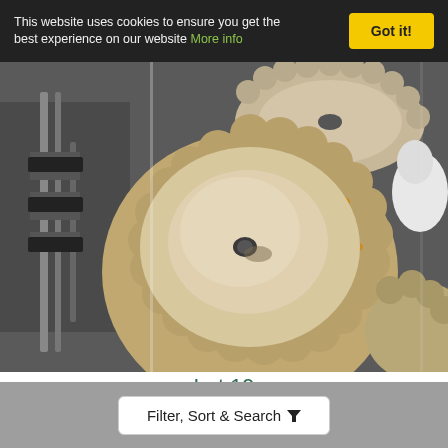This website uses cookies to ensure you get the best experience on our website More info
[Figure (photo): Photo of a round stone garden planter with scalloped/petal edge design viewed from above, sitting on a dark surface alongside other garden items. The planter is a beige/sandy concrete color with some orange lichen marks.]
Lot 19
Pair of stone garden planters
Filter, Sort & Search